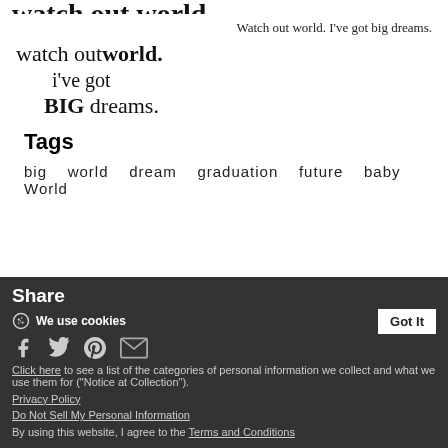watch out world.
Watch out world. I've got big dreams.
[Figure (illustration): Handwritten-style text: 'watch outworld. i've got BIG dreams.']
Tags
big   world   dream   graduation   future   baby   World
Share
We use cookies
Click here to see a list of the categories of personal information we collect and what we use them for ("Notice at Collection").
Privacy Policy
Do Not Sell My Personal Information
By using this website, I agree to the Terms and Conditions